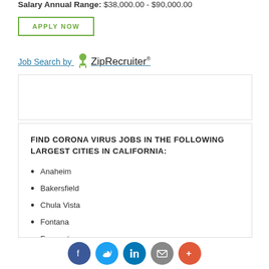Salary Annual Range: $38,000.00 - $90,000.00
APPLY NOW
Job Search by ZipRecruiter
[Figure (other): Advertisement placeholder box (empty white box with border)]
FIND CORONA VIRUS JOBS IN THE FOLLOWING LARGEST CITIES IN CALIFORNIA:
Anaheim
Bakersfield
Chula Vista
Fontana
Fremont
Fresno
Glendale
[Figure (other): Social sharing bar with Facebook, Twitter, LinkedIn, Email, and More buttons]